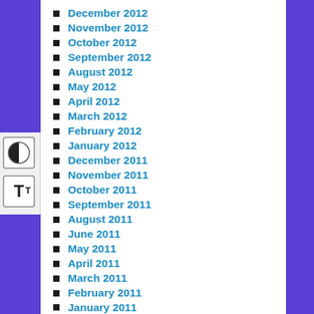December 2012
November 2012
October 2012
September 2012
August 2012
May 2012
April 2012
March 2012
February 2012
January 2012
December 2011
November 2011
October 2011
September 2011
August 2011
June 2011
May 2011
April 2011
March 2011
February 2011
January 2011